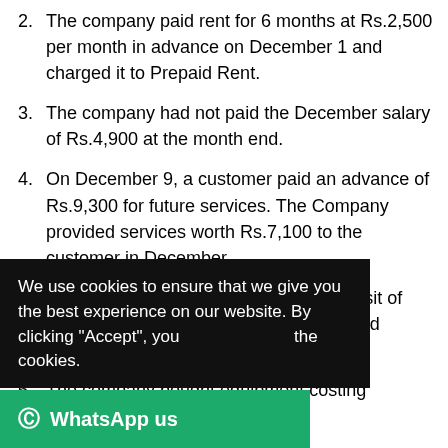2. The company paid rent for 6 months at Rs.2,500 per month in advance on December 1 and charged it to Prepaid Rent.
3. The company had not paid the December salary of Rs.4,900 at the month end.
4. On December 9, a customer paid an advance of Rs.9,300 for future services. The Company provided services worth Rs.7,100 to the customer in December.
5. The company made a 3 year bank deposit of Rs.20,000 on December 1. The deposited carried interest at 12% per annum.
6. The company bought equipment costing Rs.13,000 on [date]. [estimated useful life...] was expected to [...] the cookies. [...] mated at Rs.9,100...